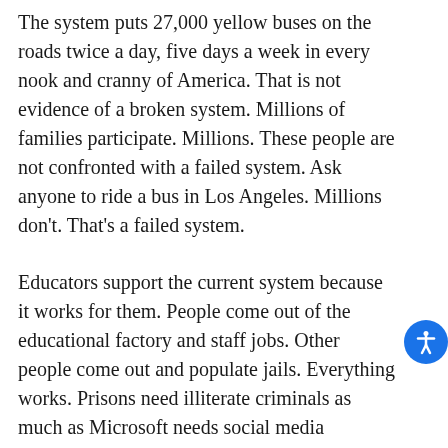The system puts 27,000 yellow buses on the roads twice a day, five days a week in every nook and cranny of America. That is not evidence of a broken system. Millions of families participate. Millions. These people are not confronted with a failed system. Ask anyone to ride a bus in Los Angeles. Millions don't. That's a failed system.
Educators support the current system because it works for them. People come out of the educational factory and staff jobs. Other people come out and populate jails. Everything works. Prisons need illiterate criminals as much as Microsoft needs social media analysts. Bodies through the system are the only product.
The President of the United States made opening